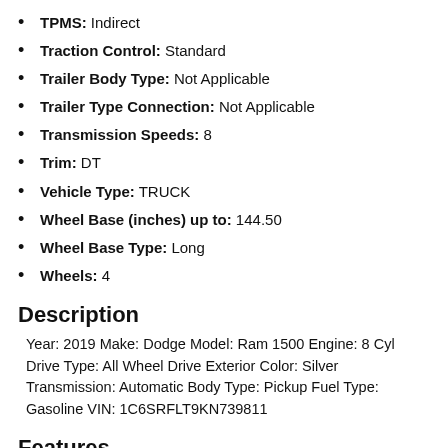TPMS: Indirect
Traction Control: Standard
Trailer Body Type: Not Applicable
Trailer Type Connection: Not Applicable
Transmission Speeds: 8
Trim: DT
Vehicle Type: TRUCK
Wheel Base (inches) up to: 144.50
Wheel Base Type: Long
Wheels: 4
Description
Year: 2019 Make: Dodge Model: Ram 1500 Engine: 8 Cyl Drive Type: All Wheel Drive Exterior Color: Silver Transmission: Automatic Body Type: Pickup Fuel Type: Gasoline VIN: 1C6SRFLT9KN739811
Features